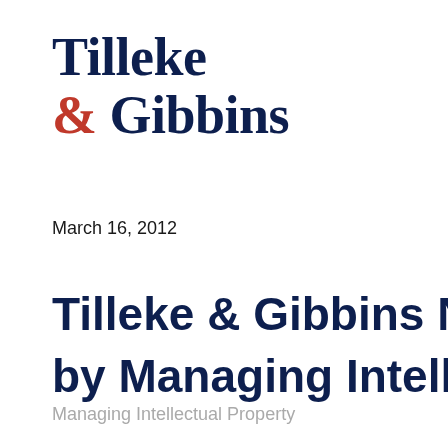[Figure (logo): Tilleke & Gibbins law firm logo with dark navy text and red ampersand]
March 16, 2012
Tilleke & Gibbins Named by Managing Intelle
Managing Intellectual Property